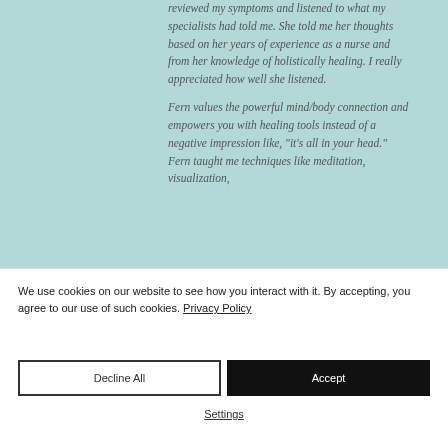reviewed my symptoms and listened to what my specialists had told me. She told me her thoughts based on her years of experience as a nurse and from her knowledge of holistically healing. I really appreciated how well she listened.
Fern values the powerful mind/body connection and empowers you with healing tools instead of a negative impression like, "it's all in your head." Fern taught me techniques like meditation, visualization,
We use cookies on our website to see how you interact with it. By accepting, you agree to our use of such cookies. Privacy Policy
Decline All
Accept
Settings